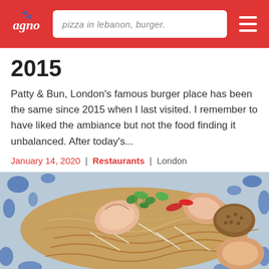pizza in lebanon, burger.
2015
Patty & Bun, London's famous burger place has been the same since 2015 when I last visited. I remember to have liked the ambiance but not the food finding it unbalanced. After today's...
January 14, 2020 | Restaurants | London
[Figure (photo): Close-up photo of pad thai noodles with shrimp on a blue and white patterned plate, garnished with cilantro and red chili peppers]
ASIAN & CHINESE
Rosa's Thai Cafe in London: Order the Pad Thai... it's